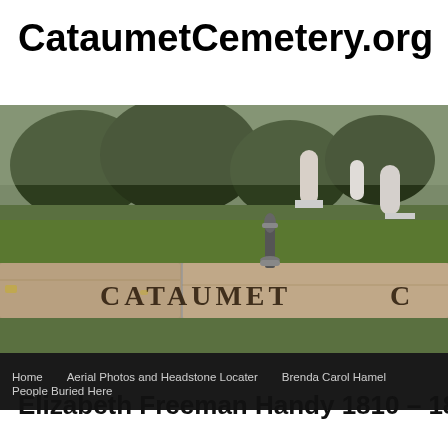CataumetCemetery.org
[Figure (photo): Photo of Cataumet Cemetery entrance showing a stone wall with 'CATAUMET C' engraved, green grass, trees, and gravestones in the background. A decorative iron post is visible on the stone wall. Navigation bar overlaid at bottom with links: Home, Aerial Photos and Headstone Locater, Brenda Carol Hamel, People Buried Here.]
Elizabeth Freeman Handy 1810 – 18